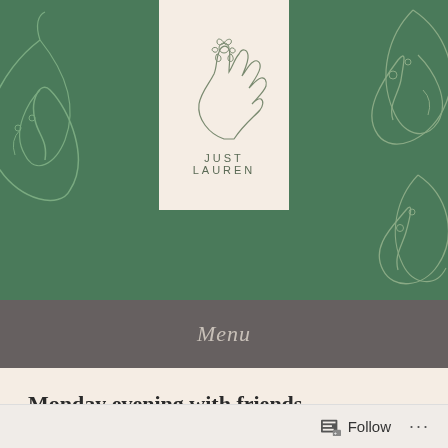[Figure (logo): Just Lauren blog logo — line art of a hand holding a flower on cream background, with text JUST LAUREN, set against green decorative monstera leaf banner]
Menu
Monday evening with friends
Posted on April 10, 2019
On Monday I went to dinner with two ladies I met through my comic book meetup. I'm trying to expand